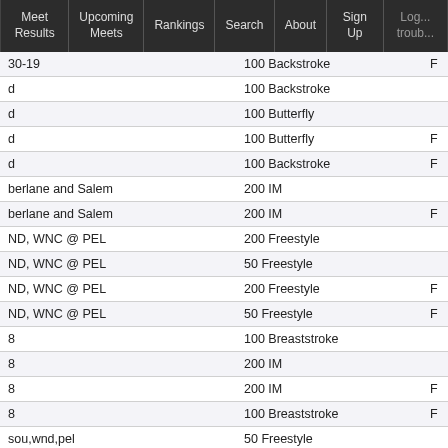Meet Results | Upcoming Meets | Rankings | Search | About | Sign Up | Log... trouble...
| Meet | Event |  |
| --- | --- | --- |
| 30-19 | 100 Backstroke | F |
| d | 100 Backstroke |  |
| d | 100 Butterfly |  |
| d | 100 Butterfly | F |
| d | 100 Backstroke | F |
| berlane and Salem | 200 IM |  |
| berlane and Salem | 200 IM | F |
| ND, WNC @ PEL | 200 Freestyle |  |
| ND, WNC @ PEL | 50 Freestyle |  |
| ND, WNC @ PEL | 200 Freestyle | F |
| ND, WNC @ PEL | 50 Freestyle | F |
| 8 | 100 Breaststroke |  |
| 8 | 200 IM |  |
| 8 | 200 IM | F |
| 8 | 100 Breaststroke | F |
| sou,wnd,pel | 50 Freestyle |  |
| sou,wnd,pel | 500 Freestyle |  |
| sou,wnd,pel | 100 Butterfly |  |
| sou,wnd,pel | 50 Freestyle | F |